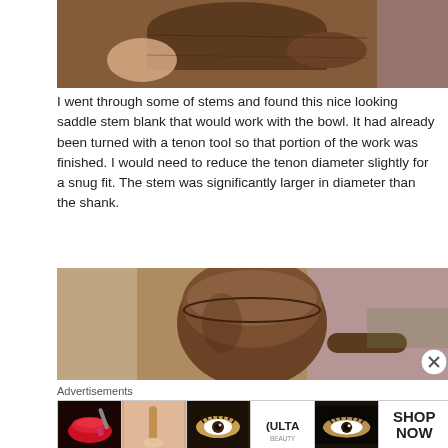[Figure (photo): Close-up photo of a wooden pipe stem blank and bowl held by fingers, on a textured fabric background.]
I went through some of stems and found this nice looking saddle stem blank that would work with the bowl. It had already been turned with a tenon tool so that portion of the work was finished. I would need to reduce the tenon diameter slightly for a snug fit. The stem was significantly larger in diameter than the shank.
[Figure (photo): Close-up photo of a wooden pipe bowl on a textured colorful fabric background.]
Advertisements
[Figure (photo): ULTA beauty advertisement banner showing makeup and beauty products with SHOP NOW text.]